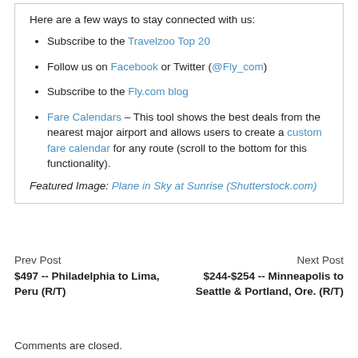Here are a few ways to stay connected with us:
Subscribe to the Travelzoo Top 20
Follow us on Facebook or Twitter (@Fly_com)
Subscribe to the Fly.com blog
Fare Calendars – This tool shows the best deals from the nearest major airport and allows users to create a custom fare calendar for any route (scroll to the bottom for this functionality).
Featured Image: Plane in Sky at Sunrise (Shutterstock.com)
Prev Post
$497 -- Philadelphia to Lima, Peru (R/T)
Next Post
$244-$254 -- Minneapolis to Seattle & Portland, Ore. (R/T)
Comments are closed.